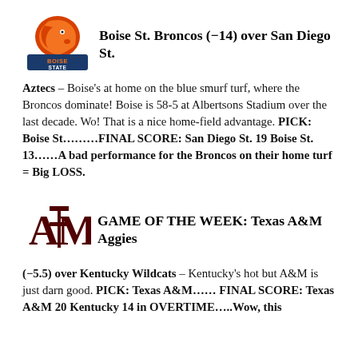[Figure (logo): Boise State Broncos logo — orange horse head with BOISE STATE text in blue and orange]
Boise St. Broncos (-14) over San Diego St.
Aztecs – Boise's at home on the blue smurf turf, where the Broncos dominate! Boise is 58-5 at Albertsons Stadium over the last decade. Wo! That is a nice home-field advantage. PICK: Boise St………FINAL SCORE: San Diego St. 19 Boise St. 13……A bad performance for the Broncos on their home turf = Big LOSS.
[Figure (logo): Texas A&M Aggies logo — maroon ATM block letter logo]
GAME OF THE WEEK: Texas A&M Aggies (-5.5) over Kentucky Wildcats
(-5.5) over Kentucky Wildcats – Kentucky's hot but A&M is just darn good. PICK: Texas A&M…… FINAL SCORE: Texas A&M 20 Kentucky 14 in OVERTIME…..Wow, this